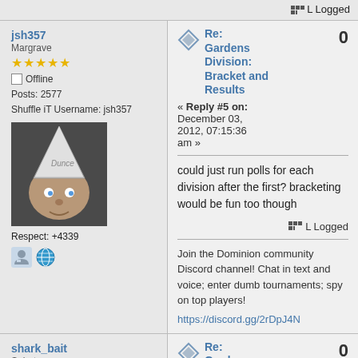Logged
jsh357
Margrave
★★★★★
Offline
Posts: 2577
Shuffle iT Username: jsh357
Respect: +4339
Re: Gardens Division: Bracket and Results
« Reply #5 on: December 03, 2012, 07:15:36 am »
0
could just run polls for each division after the first? bracketing would be fun too though
Logged
Join the Dominion community Discord channel! Chat in text and voice; enter dumb tournaments; spy on top players!
https://discord.gg/2rDpJ4N
shark_bait
Saboteur
Re: Gardens 0